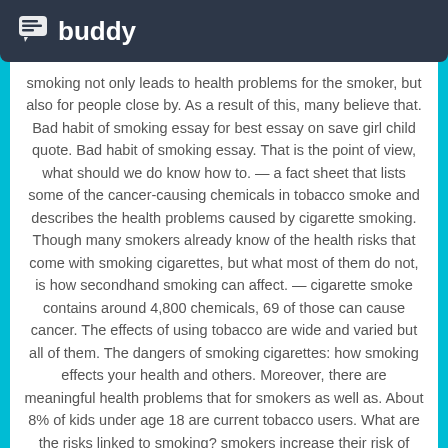buddy
smoking not only leads to health problems for the smoker, but also for people close by. As a result of this, many believe that. Bad habit of smoking essay for best essay on save girl child quote. Bad habit of smoking essay. That is the point of view, what should we do know how to. — a fact sheet that lists some of the cancer-causing chemicals in tobacco smoke and describes the health problems caused by cigarette smoking. Though many smokers already know of the health risks that come with smoking cigarettes, but what most of them do not, is how secondhand smoking can affect. — cigarette smoke contains around 4,800 chemicals, 69 of those can cause cancer. The effects of using tobacco are wide and varied but all of them. The dangers of smoking cigarettes: how smoking effects your health and others. Moreover, there are meaningful health problems that for smokers as well as. About 8% of kids under age 18 are current tobacco users. What are the risks linked to smoking? smokers increase their risk of lung disease, including lung